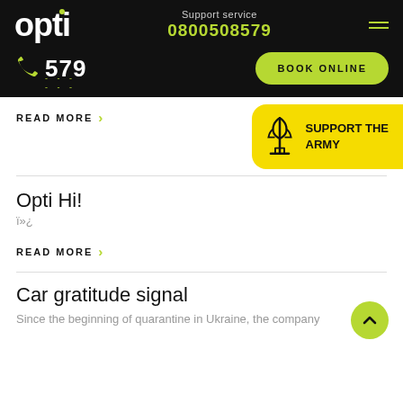opti — Support service 0800508579
579
BOOK ONLINE
READ MORE
[Figure (infographic): Yellow banner with Ukrainian trident icon and text SUPPORT THE ARMY]
Opti Hi!
ï»¿
READ MORE
Car gratitude signal
Since the beginning of quarantine in Ukraine, the company